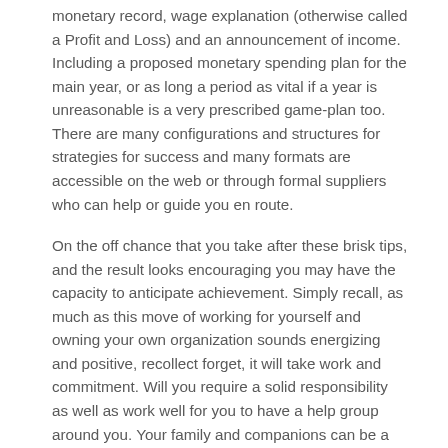monetary record, wage explanation (otherwise called a Profit and Loss) and an announcement of income. Including a proposed monetary spending plan for the main year, or as long a period as vital if a year is unreasonable is a very prescribed game-plan too. There are many configurations and structures for strategies for success and many formats are accessible on the web or through formal suppliers who can help or guide you en route.
On the off chance that you take after these brisk tips, and the result looks encouraging you may have the capacity to anticipate achievement. Simply recall, as much as this move of working for yourself and owning your own organization sounds energizing and positive, recollect forget, it will take work and commitment. Will you require a solid responsibility as well as work well for you to have a help group around you. Your family and companions can be a gigantic piece of your prosperity. So make certain to assess who you have around you and how to include them and propel them to join your group and move toward becoming team promoters.